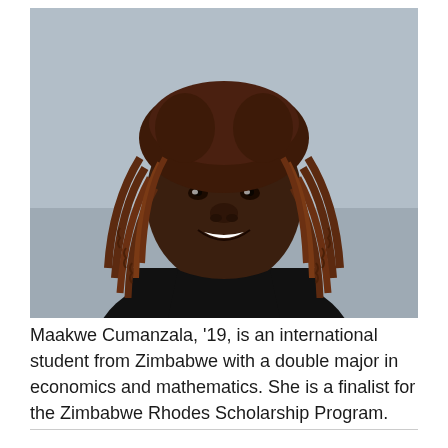[Figure (photo): Portrait photo of Maakwe Cumanzala, a young woman with dark reddish-brown braided hair, smiling, wearing a black top, against a grey background.]
Maakwe Cumanzala, ’19, is an international student from Zimbabwe with a double major in economics and mathematics. She is a finalist for the Zimbabwe Rhodes Scholarship Program.